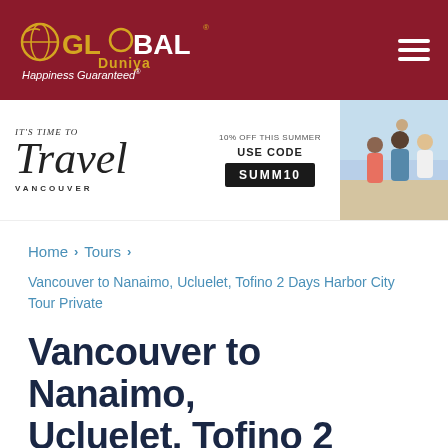[Figure (logo): Global Duniya logo with gold and white text on dark red background, tagline 'Happiness Guaranteed']
[Figure (infographic): Travel Vancouver banner ad with cursive 'Travel' text, '10% OFF THIS SUMMER USE CODE SUMM10' and photo of happy family at beach]
Home > Tours >
Vancouver to Nanaimo, Ucluelet, Tofino 2 Days Harbor City Tour Private
Vancouver to Nanaimo, Ucluelet, Tofino 2 Days Harbor City Tour Private